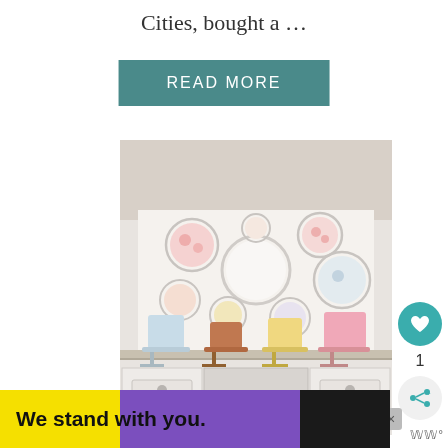Cities, bought a …
READ MORE
[Figure (photo): A styled dessert table with multiple cakes on cake stands against a white board decorated with embroidery hoops featuring floral fabric patterns. The table appears to be a white vintage dresser/sideboard.]
[Figure (other): Heart/like button (teal circle with white heart icon) with count of 1, and a share button below it]
We stand with you.
×